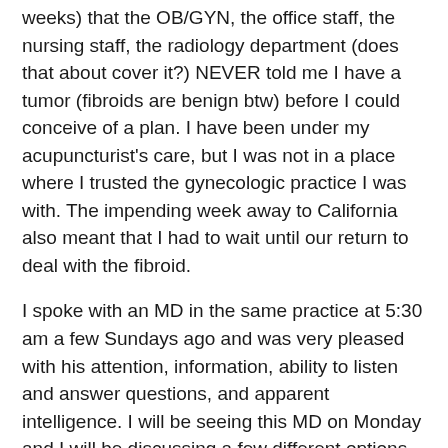weeks) that the OB/GYN, the office staff, the nursing staff, the radiology department (does that about cover it?) NEVER told me I have a tumor (fibroids are benign btw) before I could conceive of a plan. I have been under my acupuncturist's care, but I was not in a place where I trusted the gynecologic practice I was with. The impending week away to California also meant that I had to wait until our return to deal with the fibroid.
I spoke with an MD in the same practice at 5:30 am a few Sundays ago and was very pleased with his attention, information, ability to listen and answer questions, and apparent intelligence. I will be seeing this MD on Monday and I will be discussing a few different options so I can make a decision and get off the progesterone and see what my body does in response to whatever choice I make.